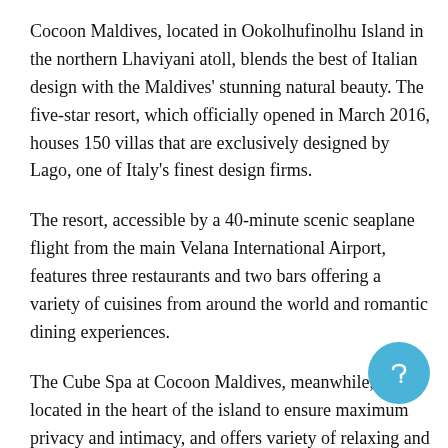Cocoon Maldives, located in Ookolhufinolhu Island in the northern Lhaviyani atoll, blends the best of Italian design with the Maldives' stunning natural beauty. The five-star resort, which officially opened in March 2016, houses 150 villas that are exclusively designed by Lago, one of Italy's finest design firms.
The resort, accessible by a 40-minute scenic seaplane flight from the main Velana International Airport, features three restaurants and two bars offering a variety of cuisines from around the world and romantic dining experiences.
The Cube Spa at Cocoon Maldives, meanwhile, is located in the heart of the island to ensure maximum privacy and intimacy, and offers variety of relaxing and rejuvenating treatments with qualified masseurs from Bali.
Maldives is amongst the most sought after destinations by high profile personalities and celebrity travellers from around the world